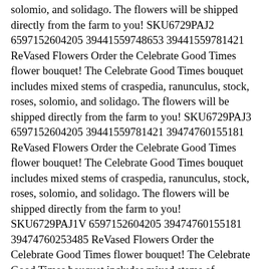solomio, and solidago. The flowers will be shipped directly from the farm to you! SKU6729PAJ2 6597152604205 39441559748653 39441559781421 ReVased Flowers Order the Celebrate Good Times flower bouquet! The Celebrate Good Times bouquet includes mixed stems of craspedia, ranunculus, stock, roses, solomio, and solidago. The flowers will be shipped directly from the farm to you! SKU6729PAJ3 6597152604205 39441559781421 39474760155181 ReVased Flowers Order the Celebrate Good Times flower bouquet! The Celebrate Good Times bouquet includes mixed stems of craspedia, ranunculus, stock, roses, solomio, and solidago. The flowers will be shipped directly from the farm to you! SKU6729PAJ1V 6597152604205 39474760155181 39474760253485 ReVased Flowers Order the Celebrate Good Times flower bouquet! The Celebrate Good Times bouquet includes mixed stems of craspedia, ranunculus, stock, roses, solomio, and solidago. The flowers will be shipped directly from the farm to you! SKU6729PAJ2V 6597152604205 39474760253485 39474760319021 ReVased Flowers Order the Celebrate Good Times flower bouquet! The Celebrate Good Times bouquet includes mixed stems of craspedia, ranunculus, stock, roses, solomio, and solidago. The flowers will be shipped directly from the farm to you! SKU6729PAJ3V 6597152604205 39474760319021 39441567350829 ReVased Flowers Order the Thinking of You flower bouquet! The Thinking of You bouquet includes mixed stems of roses, spray roses, solomio, alstroemeria, and more. The flowers will be shipped directly from the farm to you!